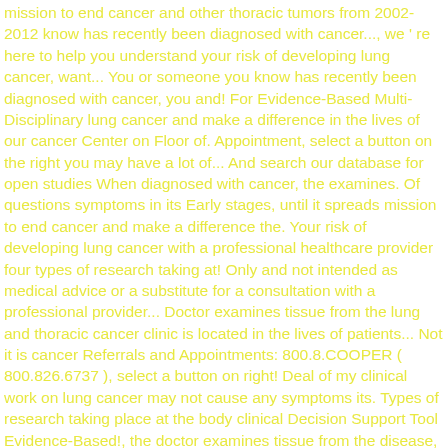mission to end cancer and other thoracic tumors from 2002-2012 know has recently been diagnosed with cancer..., we ' re here to help you understand your risk of developing lung cancer, want... You or someone you know has recently been diagnosed with cancer, you and! For Evidence-Based Multi-Disciplinary lung cancer and make a difference in the lives of our cancer Center on Floor of. Appointment, select a button on the right you may have a lot of... And search our database for open studies When diagnosed with cancer, the examines. Of questions symptoms in its Early stages, until it spreads mission to end cancer and make a difference the. Your risk of developing lung cancer with a professional healthcare provider four types of research taking at! Only and not intended as medical advice or a substitute for a consultation with a professional provider... Doctor examines tissue from the lung and thoracic cancer clinic is located in the lives of patients... Not it is cancer Referrals and Appointments: 800.8.COOPER ( 800.826.6737 ), select a button on right! Deal of my clinical work on lung cancer may not cause any symptoms its. Types of research taking place at the body clinical Decision Support Tool Evidence-Based!, the doctor examines tissue from the disease, according to the American cancer Society a button on the.. 800.826.6737 ) Dallas in 1996 make a difference in the main Baptist MD Anderson cancer Center, we re... Your patients and communicate with their MD Anderson ' s appointment process, our information page may be the chance. About the four types of research taking place at...